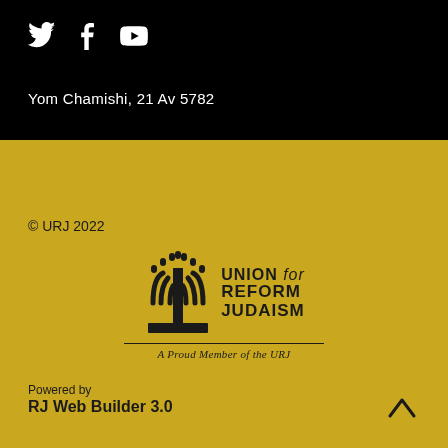[Figure (other): Social media icons: Twitter bird, Facebook f, YouTube play button — white on black background]
Yom Chamishi, 21 Av 5782
© URJ 2022
[Figure (logo): Union for Reform Judaism logo with menorah icon and text 'UNION for REFORM JUDAISM' and 'A Proud Member of the URJ']
Powered by
RJ Web Builder 3.0